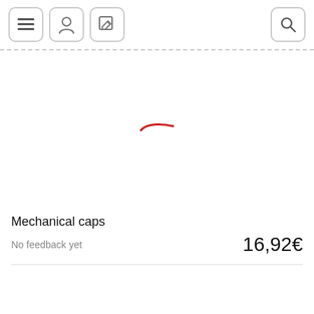[Figure (screenshot): Mobile app header navigation bar with hamburger menu icon, user profile icon, edit/write icon on the left, and a search magnifying glass icon on the right. All icons are in rounded square buttons with gray borders.]
[Figure (photo): Product image area — mostly white/empty with a small red diagonal stroke or mark near the center, suggesting a loading or broken image placeholder for mechanical caps product.]
Mechanical caps
No feedback yet
16,92€